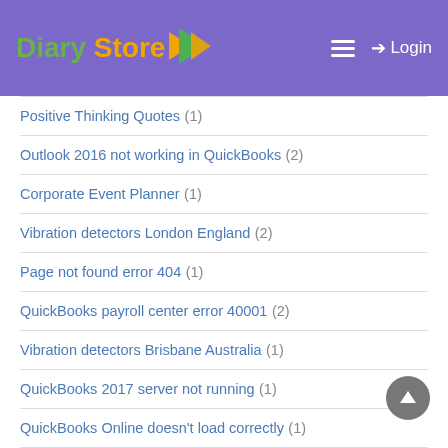Diary Store — Login
Positive Thinking Quotes (1)
Outlook 2016 not working in QuickBooks (2)
Corporate Event Planner (1)
Vibration detectors London England (2)
Page not found error 404 (1)
QuickBooks payroll center error 40001 (2)
Vibration detectors Brisbane Australia (1)
QuickBooks 2017 server not running (1)
QuickBooks Online doesn't load correctly (1)
I just received QBWC1085 Error on Windows 7 (1)
QuickBooks Error 6129 0 (1)
#turbotax hsa error code (1)